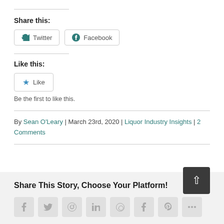Share this:
[Figure (other): Twitter and Facebook share buttons]
Like this:
[Figure (other): Like button with star icon]
Be the first to like this.
By Sean O'Leary | March 23rd, 2020 | Liquor Industry Insights | 2 Comments
Share This Story, Choose Your Platform!
[Figure (other): Social media share icons row: facebook, twitter, reddit, linkedin, whatsapp, tumblr, pinterest, and more]